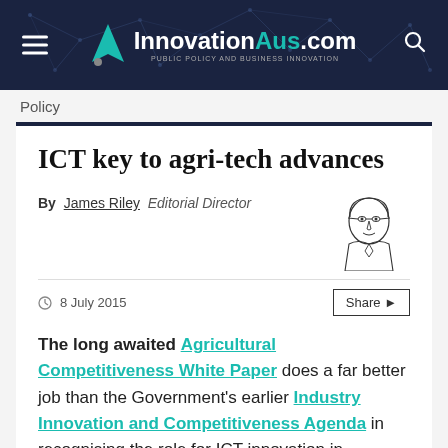InnovationAus.com — PUBLIC POLICY AND BUSINESS INNOVATION
Policy
ICT key to agri-tech advances
By James Riley  Editorial Director
8 July 2015
The long awaited Agricultural Competitiveness White Paper does a far better job than the Government's earlier Industry Innovation and Competitiveness Agenda in recognising the role for ICT innovation in Australian competitiveness,